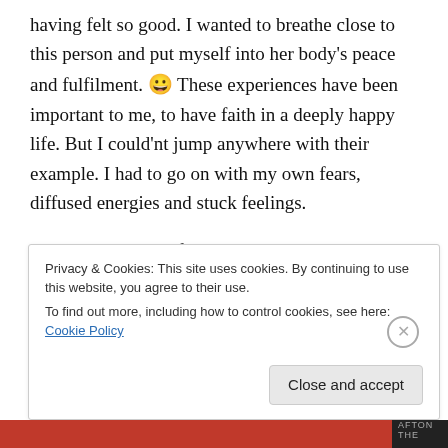having felt so good. I wanted to breathe close to this person and put myself into her body's peace and fulfilment. 😀 These experiences have been important to me, to have faith in a deeply happy life. But I could'nt jump anywhere with their example. I had to go on with my own fears, diffused energies and stuck feelings.
Goals are nutrition for the mind and actually it's vital condition. As soon as we've achieved one goal, the next goal appears. And a new one after that one. It's a vicious circle. In the society it's called goal-orientedness and seen
Privacy & Cookies: This site uses cookies. By continuing to use this website, you agree to their use.
To find out more, including how to control cookies, see here: Cookie Policy